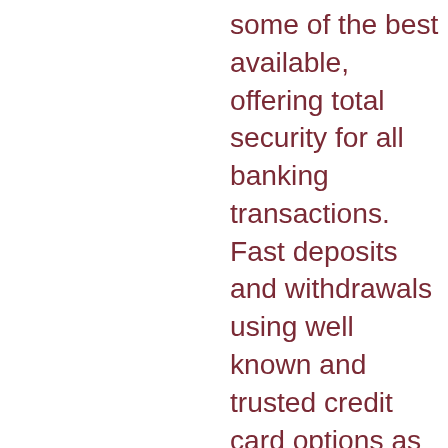some of the best available, offering total security for all banking transactions. Fast deposits and withdrawals using well known and trusted credit card options as well as e-wallets, 10 free bitcoin slot machine games. If you have a query or a problem, do not hesitate to contact our friendly support staff 24/7 using our live chat, email or phone contacts. Our support staff are highly trained, friendly and will respond promptly to your request. Our support staff are highly trained, friendly and will respond promptly to your request, 10 free bitcoin slot machine games. What does a no-deposit-bonus mean, casino bonus collector. Aga's have a game plan. Bet responsibly™ campaign is bringing sports betting stakeholders together to promote responsible gaming. Super bowl 56 squares is a great way for non bettors to get in on the fun. Bettors